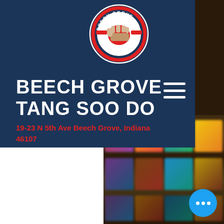[Figure (logo): Beech Grove Tang Soo Do circular logo with fist graphic, red and white on dark blue circle with text around the edge]
BEECH GROVE TANG SOO DO
19-23 N 5th Ave Beech Grove, Indiana 46107
[Figure (screenshot): Blurred background showing a grid of colorful thumbnail images, likely a social media or website gallery view]
[Figure (other): Blue circular chat/more options button with three white dots at bottom right]